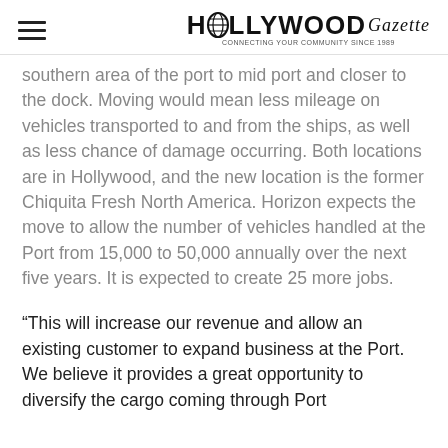HOLLYWOOD Gazette
southern area of the port to mid port and closer to the dock. Moving would mean less mileage on vehicles transported to and from the ships, as well as less chance of damage occurring. Both locations are in Hollywood, and the new location is the former Chiquita Fresh North America. Horizon expects the move to allow the number of vehicles handled at the Port from 15,000 to 50,000 annually over the next five years. It is expected to create 25 more jobs.
“This will increase our revenue and allow an existing customer to expand business at the Port. We believe it provides a great opportunity to diversify the cargo coming through Port